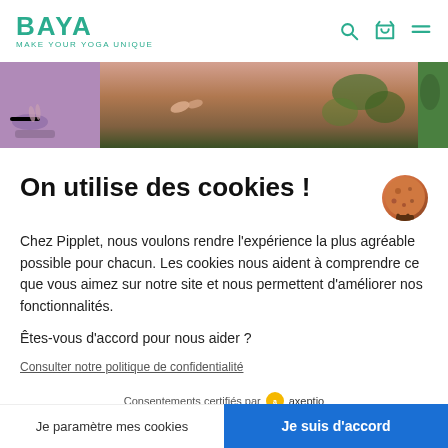BAYA — MAKE YOUR YOGA UNIQUE
[Figure (photo): Hero image banner showing yoga/outdoor lifestyle scenes — left panel purple background, center panel earth tones with hands/plants, right panel green foliage]
On utilise des cookies !
Chez Pipplet, nous voulons rendre l'expérience la plus agréable possible pour chacun. Les cookies nous aident à comprendre ce que vous aimez sur notre site et nous permettent d'améliorer nos fonctionnalités.
Êtes-vous d'accord pour nous aider ?
Consulter notre politique de confidentialité
Consentements certifiés par axeptio
Je paramètre mes cookies
Je suis d'accord